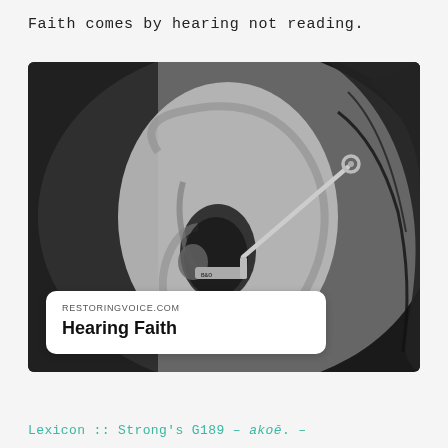Faith comes by hearing not reading.
[Figure (photo): Close-up black and white photograph of a person's ear with a B&O earphone/earring device inserted, showing hair and side of face in background.]
RESTORINGVOICE.COM
Hearing Faith
Lexicon :: Strong's G189 – akoē. –